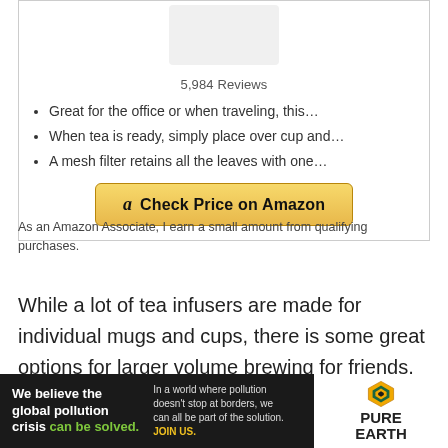5,984 Reviews
Great for the office or when traveling, this…
When tea is ready, simply place over cup and…
A mesh filter retains all the leaves with one…
[Figure (other): Check Price on Amazon button with Amazon logo]
As an Amazon Associate, I earn a small amount from qualifying purchases.
While a lot of tea infusers are made for individual mugs and cups, there is some great options for larger volume brewing for friends, family, or
[Figure (other): Pure Earth advertisement banner: 'We believe the global pollution crisis can be solved. In a world where pollution doesn't stop at borders, we can all be part of the solution. JOIN US.']